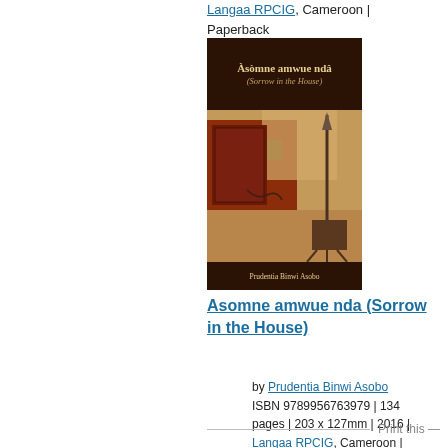Langaa RPCIG, Cameroon | Paperback
[Figure (photo): Book cover of 'Àsòmne amwue ndâ (Sorrow in the House)' by Prudentia Binwi Asobo, published by Langaa RPCIG. Dark brown cover with abstract painting of interior scene, featuring earth tones and a spear.]
Asomne amwue nda (Sorrow in the House)
by Prudentia Binwi Asobo
ISBN 9789956763979 | 134 pages | 203 x 127mm | 2016 | Langaa RPCIG, Cameroon | Paperback
Print this —